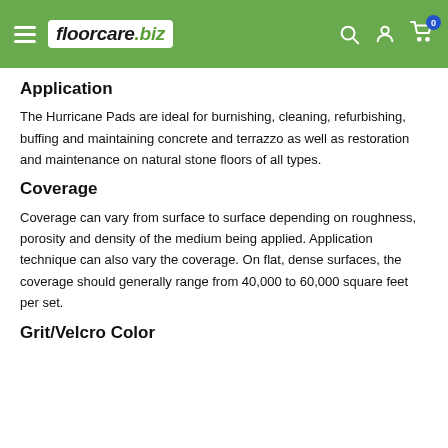floorcare.biz
Application
The Hurricane Pads are ideal for burnishing, cleaning, refurbishing, buffing and maintaining concrete and terrazzo as well as restoration and maintenance on natural stone floors of all types.
Coverage
Coverage can vary from surface to surface depending on roughness, porosity and density of the medium being applied. Application technique can also vary the coverage. On flat, dense surfaces, the coverage should generally range from 40,000 to 60,000 square feet per set.
Grit/Velcro Color